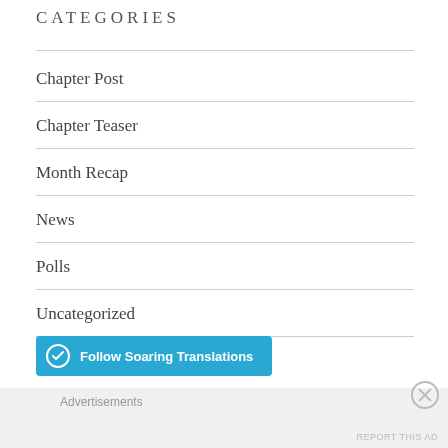CATEGORIES
Chapter Post
Chapter Teaser
Month Recap
News
Polls
Uncategorized
Follow Soaring Translations
Advertisements
REPORT THIS AD